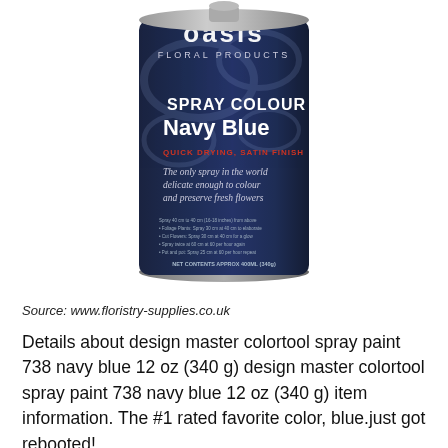[Figure (photo): A navy blue aerosol spray can of Oasis Floral Products Spray Colour Navy Blue, quick drying satin finish, labeled as the only spray in the world delicate enough to colour and preserve fresh flowers. Net contents approx 400mL (340g).]
Source: www.floristry-supplies.co.uk
Details about design master colortool spray paint 738 navy blue 12 oz (340 g) design master colortool spray paint 738 navy blue 12 oz (340 g) item information. The #1 rated favorite color, blue.just got rebooted!